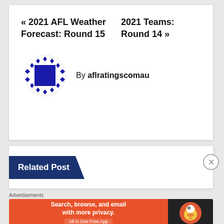« 2021 AFL Weather Forecast: Round 15
2021 Teams: Round 14 »
[Figure (logo): Circular logo with blue diamond pattern border and dark blue square center on white background]
By aflratingscomau
Related Post
Advertisements
[Figure (screenshot): DuckDuckGo advertisement banner: orange background with text 'Search, browse, and email with more privacy. All in One Free App' and DuckDuckGo duck logo on dark background]